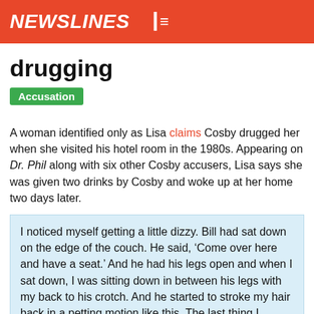NEWSLINES
drugging
Accusation
A woman identified only as Lisa claims Cosby drugged her when she visited his hotel room in the 1980s. Appearing on Dr. Phil along with six other Cosby accusers, Lisa says she was given two drinks by Cosby and woke up at her home two days later.
I noticed myself getting a little dizzy. Bill had sat down on the edge of the couch. He said, ‘Come over here and have a seat.’ And he had his legs open and when I sat down, I was sitting down in between his legs with my back to his crotch. And he started to stroke my hair back in a petting motion like this. The last thing I remember is just feeling the strokes on my head. After that, I don’t remember anything else.
16 Dec, 2014